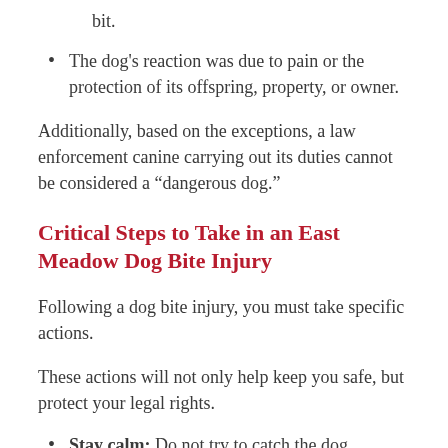bit.
The dog's reaction was due to pain or the protection of its offspring, property, or owner.
Additionally, based on the exceptions, a law enforcement canine carrying out its duties cannot be considered a “dangerous dog.”
Critical Steps to Take in an East Meadow Dog Bite Injury
Following a dog bite injury, you must take specific actions.
These actions will not only help keep you safe, but protect your legal rights.
Stay calm: Do not try to catch the dog, especially